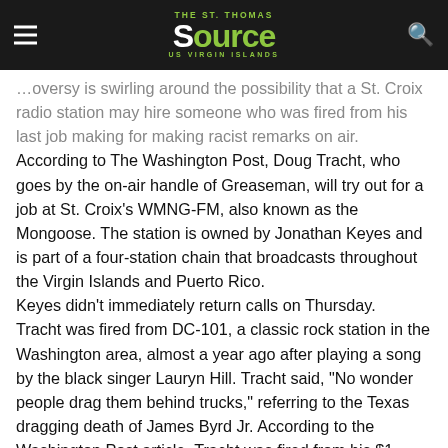The St. Thomas Source — US Virgin Islands
…oversy is swirling around the possibility that a St. Croix radio station may hire someone who was fired from his last job making for making racist remarks on air. According to The Washington Post, Doug Tracht, who goes by the on-air handle of Greaseman, will try out for a job at St. Croix's WMNG-FM, also known as the Mongoose. The station is owned by Jonathan Keyes and is part of a four-station chain that broadcasts throughout the Virgin Islands and Puerto Rico. Keyes didn't immediately return calls on Thursday. Tracht was fired from DC-101, a classic rock station in the Washington area, almost a year ago after playing a song by the black singer Lauryn Hill. Tracht said, "No wonder people drag them behind trucks," referring to the Texas dragging death of James Byrd Jr. According to the Washington Post article, Tracht was fired from his $1 million-a-year job on Feb. 25, 1999.